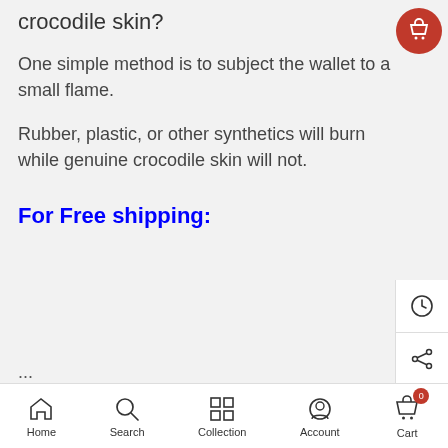crocodile skin?
One simple method is to subject the wallet to a small flame.
Rubber, plastic, or other synthetics will burn while genuine crocodile skin will not.
For Free shipping:
...ONLY Buy Ref...
Home  Search  Collection  Account  Cart